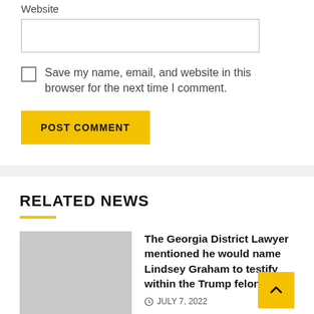Website
Save my name, email, and website in this browser for the next time I comment.
POST COMMENT
RELATED NEWS
[Figure (photo): Gray placeholder thumbnail image for a news article]
The Georgia District Lawyer mentioned he would name Lindsey Graham to testify within the Trump felony ca
JULY 7, 2022